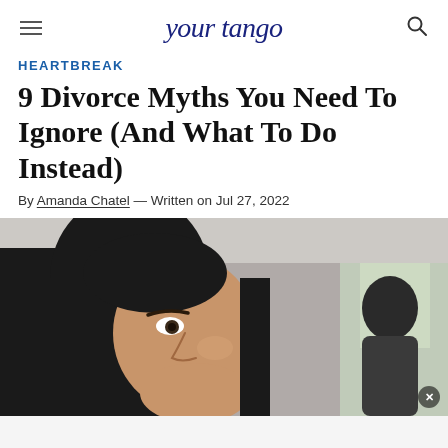yourtango
HEARTBREAK
9 Divorce Myths You Need To Ignore (And What To Do Instead)
By Amanda Chatel — Written on Jul 27, 2022
[Figure (photo): A woman with long dark hair looking off to the side, with a man visible in the background, both appearing somber.]